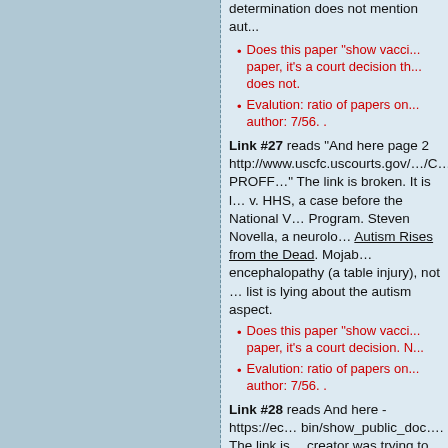determination does not mention aut...
Does this paper "show vacci... paper, it's a court decision th... does not.
Evalution: ratio of papers on... author: 7/56. .
Link #27 reads "And here page 2 http://www.uscfc.uscourts.gov/.../C... PROFF..." The link is broken. It is l... v. HHS, a case before the National V... Program. Steven Novella, a neurolo... Autism Rises from the Dead. Mojab... encephalopathy (a table injury), not ... list is lying about the autism aspect.
Does this paper "show vacci... paper, it's a court decision. N...
Evalution: ratio of papers on... author: 7/56. .
Link #28 reads And here - https://ec... bin/show_public_doc.... The link is... creator was trying to link to.
Does this paper "show vacci... paper, it's a court decision. N...
Evalution: ratio of papers on...